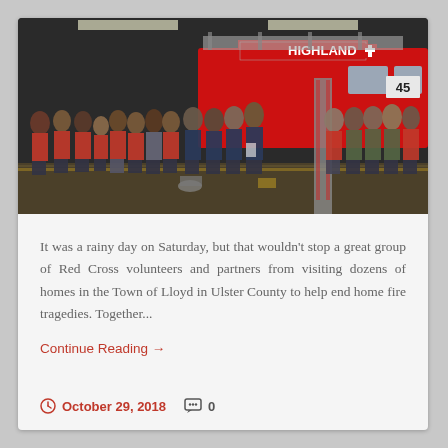[Figure (photo): Group photo of Red Cross volunteers and partners standing in front of a Highland fire truck inside a fire station.]
It was a rainy day on Saturday, but that wouldn't stop a great group of Red Cross volunteers and partners from visiting dozens of homes in the Town of Lloyd in Ulster County to help end home fire tragedies. Together...
Continue Reading →
October 29, 2018   0